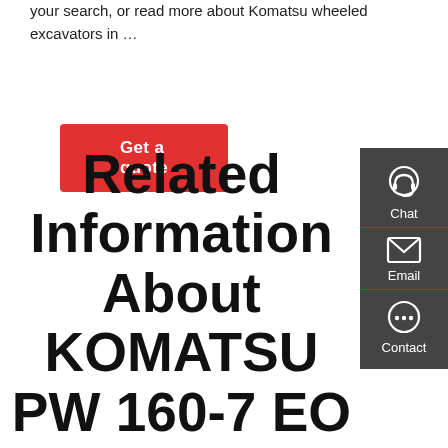your search, or read more about Komatsu wheeled excavators in ...
Get a quote
Related Information About KOMATSU PW 160-7 EO Wheel Excavator From
[Figure (infographic): Side panel with dark grey background containing three contact options: Chat (headset icon), Email (envelope icon), Contact (speech bubble icon), separated by red dividers]